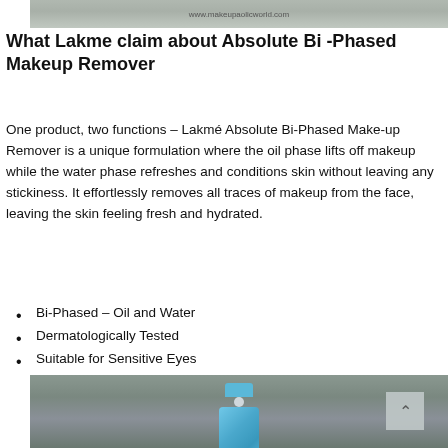[Figure (photo): Top banner image of a surface with website URL www.makeupaolicworld.com overlaid]
What Lakme claim about Absolute Bi -Phased Makeup Remover
One product, two functions – Lakmé Absolute Bi-Phased Make-up Remover is a unique formulation where the oil phase lifts off makeup while the water phase refreshes and conditions skin without leaving any stickiness. It effortlessly removes all traces of makeup from the face, leaving the skin feeling fresh and hydrated.
Bi-Phased – Oil and Water
Dermatologically Tested
Suitable for Sensitive Eyes
[Figure (photo): Photo of a blue Lakme Absolute Bi-Phased Makeup Remover bottle against a blurred outdoor background]